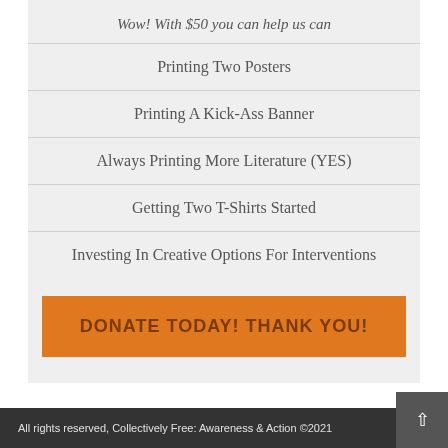Wow! With $50 you can help us can
Printing Two Posters
Printing A Kick-Ass Banner
Always Printing More Literature (YES)
Getting Two T-Shirts Started
Investing In Creative Options For Interventions
DONATE TODAY! THANK YOU!
All rights reserved, Collectively Free: Awareness & Action ©2021